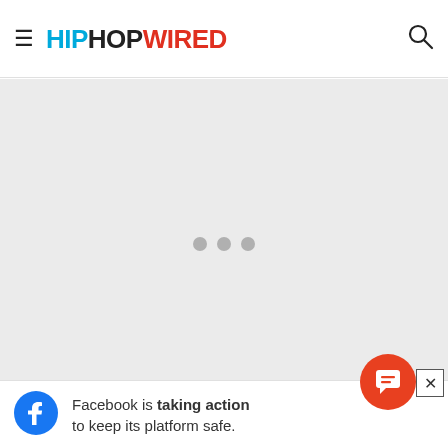HipHopWired
[Figure (other): Loading spinner / placeholder area with three gray dots on light gray background]
Facebook is taking action to keep its platform safe.